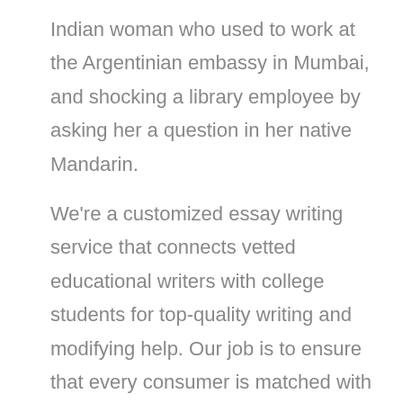Indian woman who used to work at the Argentinian embassy in Mumbai, and shocking a library employee by asking her a question in her native Mandarin.
We're a customized essay writing service that connects vetted educational writers with college students for top-quality writing and modifying help. Our job is to ensure that every consumer is matched with the most appropriate knowledgeable, so that you make the most of our service.
In other words, the essay section of the application nearly invitations all kinds of covert help, and generally outright cheating. High school grades